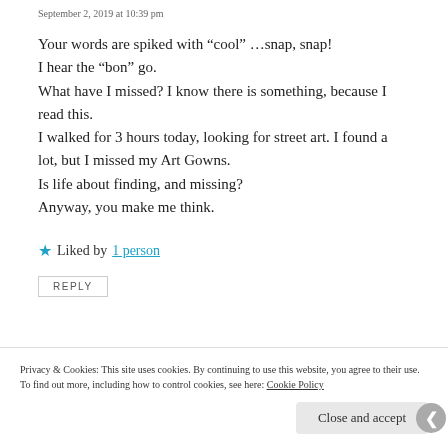September 2, 2019 at 10:39 pm
Your words are spiked with “cool” …snap, snap!
I hear the “bon” go.
What have I missed? I know there is something, because I read this.
I walked for 3 hours today, looking for street art. I found a lot, but I missed my Art Gowns.
Is life about finding, and missing?
Anyway, you make me think.
★ Liked by 1 person
REPLY
Privacy & Cookies: This site uses cookies. By continuing to use this website, you agree to their use.
To find out more, including how to control cookies, see here: Cookie Policy
Close and accept